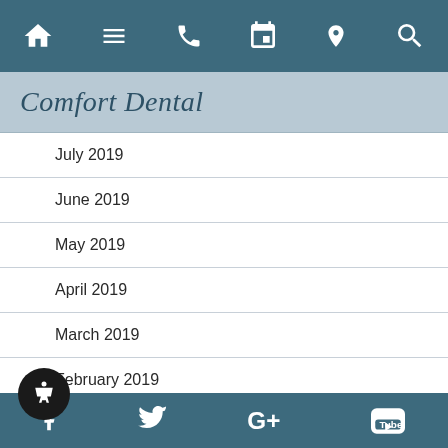Navigation bar with home, menu, phone, calendar, location, search icons
Comfort Dental
July 2019
June 2019
May 2019
April 2019
March 2019
February 2019
January 2019
December 2018
November 2018
October 2018
Social media icons: Facebook, Twitter, Google+, YouTube